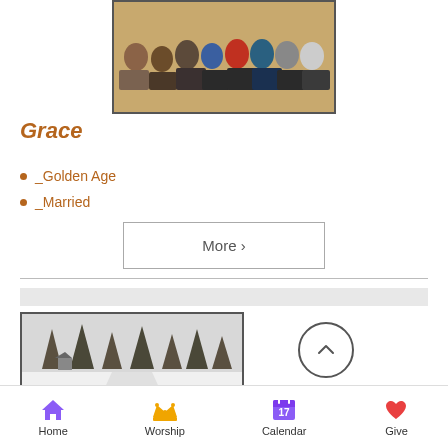[Figure (photo): Group photo of people seated indoors on wooden floor]
Grace
Golden Age
Married
More >
[Figure (photo): Winter landscape with snow-covered trees and road]
Home | Worship | Calendar | Give